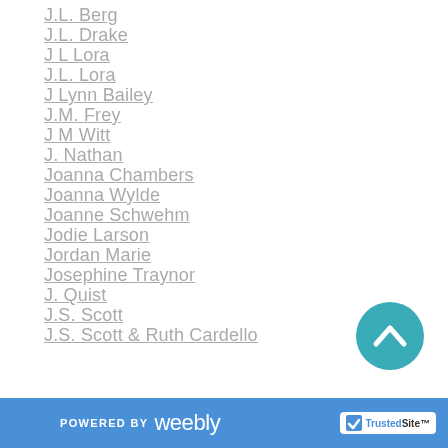J.L. Berg
J.L. Drake
J L Lora
J.L. Lora
J Lynn Bailey
J.M. Frey
J M Witt
J. Nathan
Joanna Chambers
Joanna Wylde
Joanne Schwehm
Jodie Larson
Jordan Marie
Josephine Traynor
J. Quist
J.S. Scott
J.S. Scott & Ruth Cardello
[Figure (other): Teal circular back-to-top button with upward chevron arrow]
POWERED BY weebly | TrustedSite